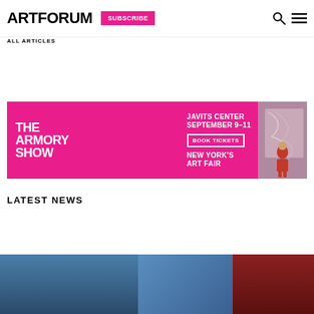ARTFORUM
ALL ARTICLES
[Figure (infographic): The Armory Show advertisement banner. Magenta/pink background with white text: 'THE ARMORY SHOW', 'JAVITS CENTER SEPTEMBER 9–11', 'NEW YORK'S ART FAIR'. White outlined button: 'BOOK TICKETS'. Right side shows a person in red standing in front of artwork.]
LATEST NEWS
[Figure (photo): Partial view of a photo strip at the bottom of the page showing three panels: blue/teal toned architectural or sky image on the left, lighter blue panel in center, and dark red/burnt orange panel on the right.]